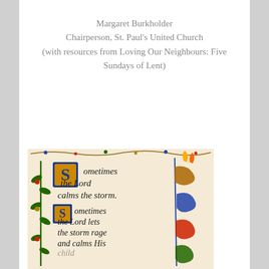Margaret Burkholder
Chairperson, St. Paul's United Church
(with resources from Loving Our Neighbours: Five Sundays of Lent)
[Figure (illustration): Illuminated manuscript-style image with decorative floral borders in blue, red, green, gold. Text in Gothic blackletter script reads: 'Sometimes the Lord calms the storm. Sometimes the Lord lets the storm rage and calms His...']